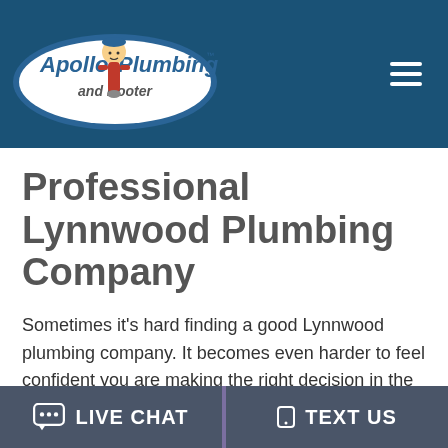Apollo Plumbing and Rooter — navigation header with logo and hamburger menu
Professional Lynnwood Plumbing Company
Sometimes it’s hard finding a good Lynnwood plumbing company. It becomes even harder to feel confident you are making the right decision in the midst of dealing with a plumbing crisis. For example, when you’re standing in two inches of
LIVE CHAT  TEXT US